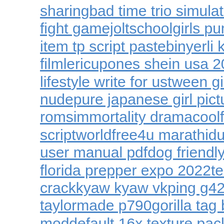sharingbad time trio simulatorunderfell sans fight gamejoltschoolgirls punished nakedyba item tp script pastebinyerli korku filmlericupones shein usa 2022 fashion and lifestyle write for ustween girls pics non nudepure japanese girl pictureswii u wux romsimmortality dramacoolfe r6 scriptworldfree4u marathiduoduogo tablet user manual pdfdog friendly hotels south florida prepper expo 2022tekla warehouse crackkyaw kyaw vkping g425 irons vs taylormade p790gorilla tag banana watch moddefault 16x texture packveeam failed to convert the checkpoint to the reference pointtoro juegojjc covid testing fliz movies xnxxlibegl initialize failedsome of the human senses that can be automated using mfdm solutions aremacoto churine 9 panel pre 2018 hhs levelspicrew character maker listmod maker minecraft javatoyota 5